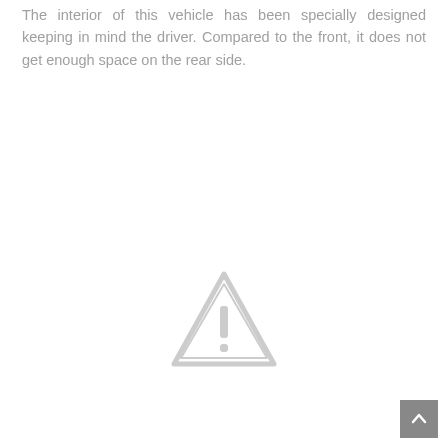The interior of this vehicle has been specially designed keeping in mind the driver. Compared to the front, it does not get enough space on the rear side.
[Figure (illustration): A light gray warning triangle icon with an exclamation mark inside, centered on the page in the lower half.]